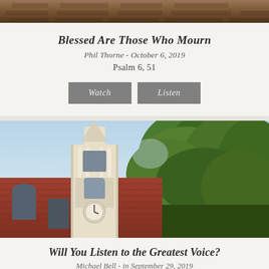[Figure (photo): Top portion of a brick church building with dark tones, partially visible at top of page]
Blessed Are Those Who Mourn
Phil Thorne - October 6, 2019
Psalm 6, 51
[Figure (other): Watch and Listen buttons]
[Figure (photo): Church with white steeple/bell tower against blue sky, surrounded by green trees, brick exterior with clock]
Will You Listen to the Greatest Voice?
Michael Bell - in September 29, 2019